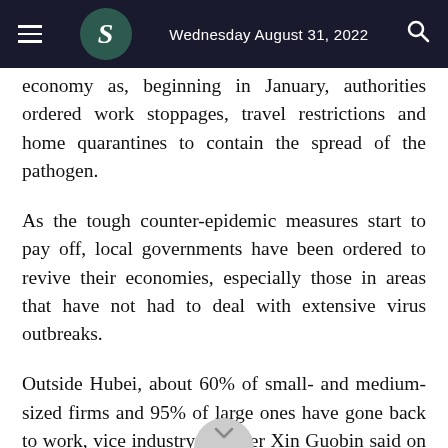Wednesday August 31, 2022
economy as, beginning in January, authorities ordered work stoppages, travel restrictions and home quarantines to contain the spread of the pathogen.
As the tough counter-epidemic measures start to pay off, local governments have been ordered to revive their economies, especially those in areas that have not had to deal with extensive virus outbreaks.
Outside Hubei, about 60% of small- and medium-sized firms and 95% of large ones have gone back to work, vice industry minister Xin Guobin said on Friday.